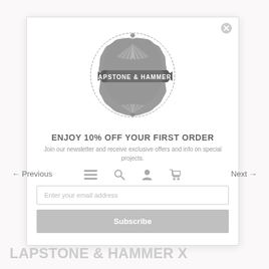[Figure (logo): Lapstone & Hammer circular ornate badge logo in grey with banner reading LAPSTONE & HAMMER]
ENJOY 10% OFF YOUR FIRST ORDER
Join our newsletter and receive exclusive offers and info on special projects.
[Figure (infographic): Row of four navigation icons: hamburger menu, search magnifying glass, user profile, shopping cart]
Enter your email address
Subscribe
← Previous
Next →
LAPSTONE & HAMMER x